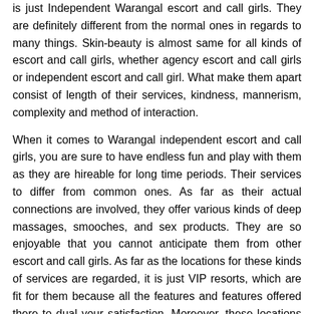is just Independent Warangal escort and call girls. They are definitely different from the normal ones in regards to many things. Skin-beauty is almost same for all kinds of escort and call girls, whether agency escort and call girls or independent escort and call girl. What make them apart consist of length of their services, kindness, mannerism, complexity and method of interaction.
When it comes to Warangal independent escort and call girls, you are sure to have endless fun and play with them as they are hireable for long time periods. Their services to differ from common ones. As far as their actual connections are involved, they offer various kinds of deep massages, smooches, and sex products. They are so enjoyable that you cannot anticipate them from other escort and call girls. As far as the locations for these kinds of services are regarded, it is just VIP resorts, which are fit for them because all the features and features offered there to dual your satisfaction. Moreover, these locations are definitely sanitary and you are at not in danger at all.
The escort and call girls do not imagine or feign
It is the common understanding of individuals that the escort and call